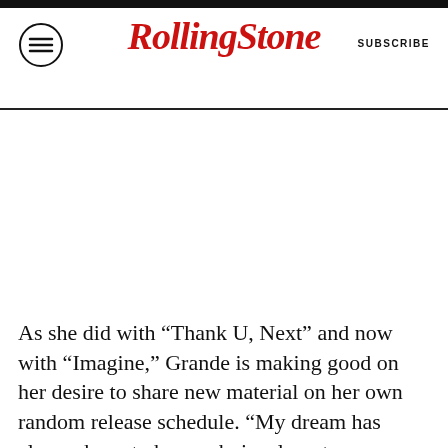Rolling Stone | SUBSCRIBE
[Figure (other): Advertisement or blank image area below the header]
As she did with “Thank U, Next” and now with “Imagine,” Grande is making good on her desire to share new material on her own random release schedule. “My dream has always been to be — obviously not a rapper, but, like, to put out music in the way that a rapper does. I feel like there are certain standards that pop women are held to that